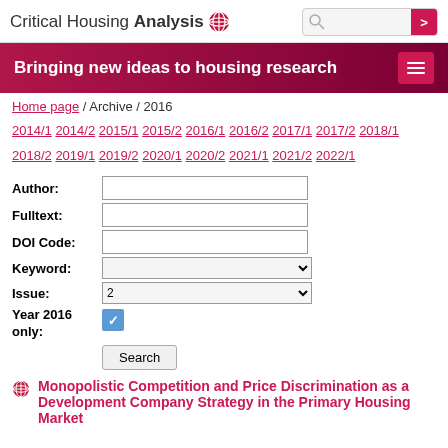Critical Housing Analysis [logo] [search bar]
Bringing new ideas to housing research
Home page / Archive / 2016
2014/1 2014/2 2015/1 2015/2 2016/1 2016/2 2017/1 2017/2 2018/1 2018/2 2019/1 2019/2 2020/1 2020/2 2021/1 2021/2 2022/1
| Field | Value |
| --- | --- |
| Author: |  |
| Fulltext: |  |
| DOI Code: |  |
| Keyword: |  |
| Issue: | 2 |
| Year 2016 only: | checked |
Search
Monopolistic Competition and Price Discrimination as a Development Company Strategy in the Primary Housing Market